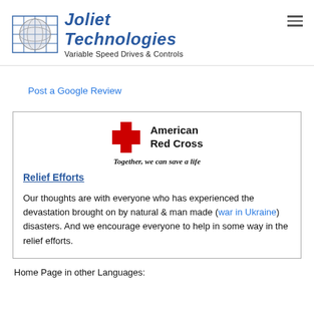Joliet Technologies — Variable Speed Drives & Controls
Post a Google Review
[Figure (logo): American Red Cross logo with red cross icon and text 'American Red Cross — Together, we can save a life']
Relief Efforts
Our thoughts are with everyone who has experienced the devastation brought on by natural & man made (war in Ukraine) disasters. And we encourage everyone to help in some way in the relief efforts.
Home Page in other Languages: